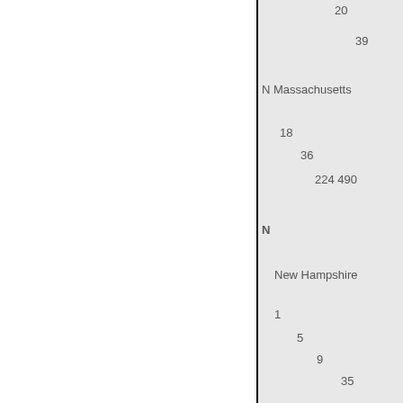| 20 |
| 39 |
| N Massachusetts |
| 18 |
| 36 |
| 224 490 |
| N |
| New Hampshire |
| 1 |
| 5 |
| 9 |
| 35 |
| 4 |
| 14 |
| 19 |
| 1 Rhode Islandt |
| 0 |